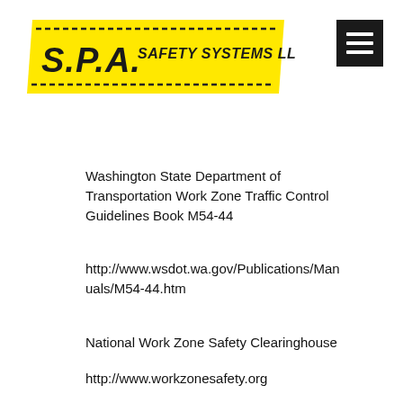[Figure (logo): S.P.A. Safety Systems LLC logo with yellow parallelogram banner and dashed border lines]
Washington State Department of Transportation Work Zone Traffic Control Guidelines Book M54-44
http://www.wsdot.wa.gov/Publications/Manuals/M54-44.htm
National Work Zone Safety Clearinghouse
http://www.workzonesafety.org